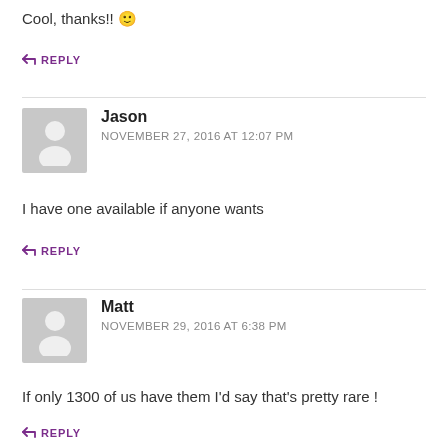Cool, thanks!! 🙂
↩ REPLY
Jason
NOVEMBER 27, 2016 AT 12:07 PM
I have one available if anyone wants
↩ REPLY
Matt
NOVEMBER 29, 2016 AT 6:38 PM
If only 1300 of us have them I'd say that's pretty rare !
↩ REPLY